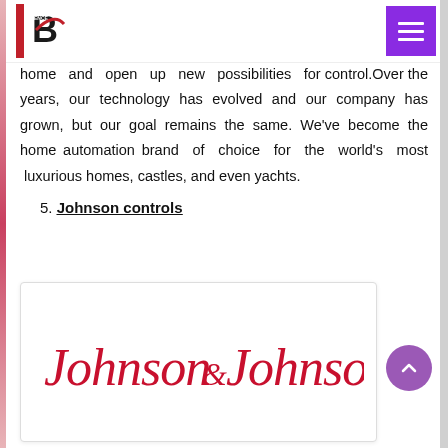Brand Essence logo and hamburger menu
home and open up new possibilities for control.Over the years, our technology has evolved and our company has grown, but our goal remains the same. We've become the home automation brand of choice for the world's most luxurious homes, castles, and even yachts.
5. Johnson controls
[Figure (logo): Johnson & Johnson logo in red cursive script on white background]